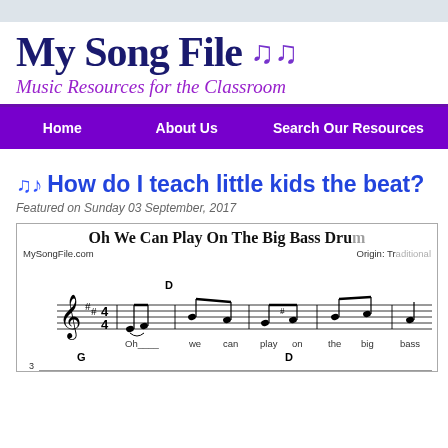My Song File 🎵🎵
Music Resources for the Classroom
Home | About Us | Search Our Resources
🎵 How do I teach little kids the beat?
Featured on Sunday 03 September, 2017
[Figure (other): Sheet music for 'Oh We Can Play On The Big Bass Drum' showing treble clef notation with lyrics 'Oh we can play on the big bass' and chord markings D and G, attributed to MySongFile.com, Origin: Traditional]